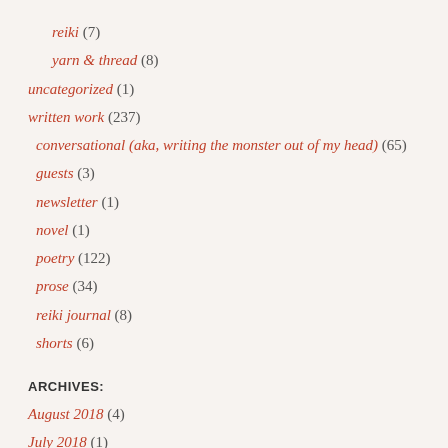reiki (7)
yarn & thread (8)
uncategorized (1)
written work (237)
conversational (aka, writing the monster out of my head) (65)
guests (3)
newsletter (1)
novel (1)
poetry (122)
prose (34)
reiki journal (8)
shorts (6)
ARCHIVES:
August 2018 (4)
July 2018 (1)